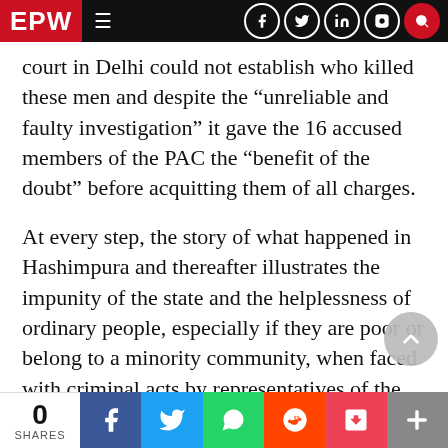EPW navigation bar with logo, hamburger menu, and social/search icons
court in Delhi could not establish who killed these men and despite the “unreliable and faulty investigation” it gave the 16 accused members of the PAC the “benefit of the doubt” before acquitting them of all charges.
At every step, the story of what happened in Hashimpura and thereafter illustrates the impunity of the state and the helplessness of ordinary people, especially if they are poor or belong to a minority community, when faced with criminal acts by representatives of the state—the police, the army, the bureaucracy or politicians. The system closes in to protect its own. The
0 SHARES | Facebook | Twitter | WhatsApp | Reddit | Pocket | Plus